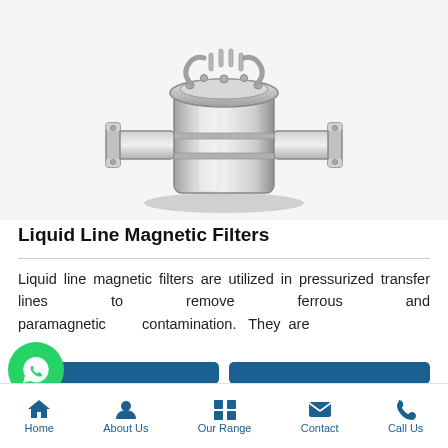[Figure (photo): Stainless steel liquid line magnetic filter with flanged ports and bolted lid with handles, photographed on white background]
Liquid Line Magnetic Filters
Liquid line magnetic filters are utilized in pressurized transfer lines to remove ferrous and paramagnetic contamination. They are